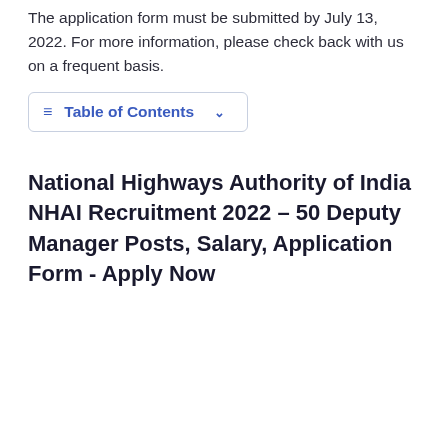The application form must be submitted by July 13, 2022. For more information, please check back with us on a frequent basis.
Table of Contents
National Highways Authority of India NHAI Recruitment 2022 – 50 Deputy Manager Posts, Salary, Application Form - Apply Now